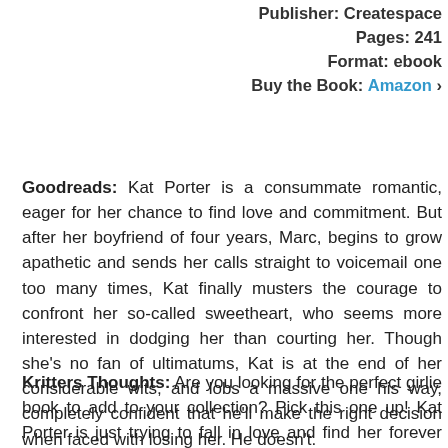Publisher: Createspace
Pages: 241
Format: ebook
Buy the Book: Amazon
Goodreads: Kat Porter is a consummate romantic, eager for her chance to find love and commitment. But after her boyfriend of four years, Marc, begins to grow apathetic and sends her calls straight to voicemail one too many times, Kat finally musters the courage to confront her so-called sweetheart, who seems more interested in dodging her than courting her. Though she's no fan of ultimatums, Kat is at the end of her considerable wits, and lobs a massive one his way, completely confident that he'll make the right decision when faced with losing her. He doesn't.
Kritters Thoughts: Are you looking for the perfect girlie book to add to your collection? Pick this one up! Kat Porter is just trying to fall in love and find her forever and the current relationship with Marc is just not working, so she